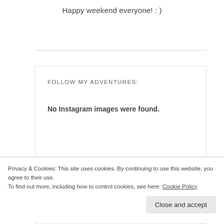Happy weekend everyone! : )
FOLLOW MY ADVENTURES:
No Instagram images were found.
Privacy & Cookies: This site uses cookies. By continuing to use this website, you agree to their use.
To find out more, including how to control cookies, see here: Cookie Policy
Close and accept
SEARCH